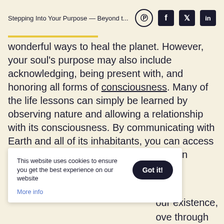Stepping Into Your Purpose — Beyond t...
wonderful ways to heal the planet. However, your soul's purpose may also include acknowledging, being present with, and honoring all forms of consciousness. Many of the life lessons can simply be learned by observing nature and allowing a relationship with its consciousness. By communicating with Earth and all of its inhabitants, you can access universal wisdom that exceeds your own understanding.
This website uses cookies to ensure you get the best experience on our website
More info
our existence, ove through